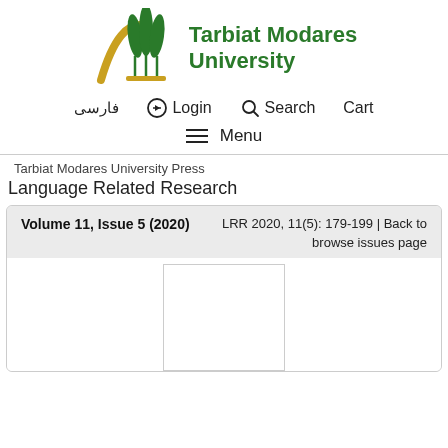[Figure (logo): Tarbiat Modares University logo with stylized wheat/plant icon and golden arch]
Tarbiat Modares University
فارسی   Login   Search   Cart
Menu
Tarbiat Modares University Press
Language Related Research
Volume 11, Issue 5 (2020)   LRR 2020, 11(5): 179-199 | Back to browse issues page
[Figure (other): Article cover image placeholder (white rectangle)]